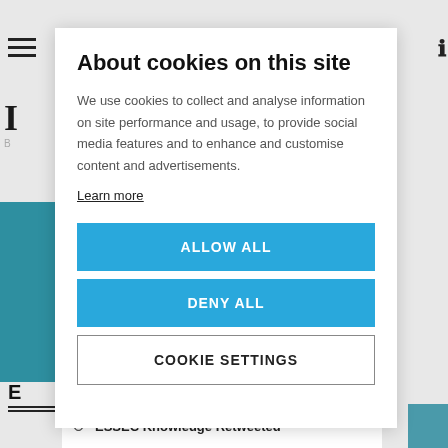About cookies on this site
We use cookies to collect and analyse information on site performance and usage, to provide social media features and to enhance and customise content and advertisements.
Learn more
ALLOW ALL
DENY ALL
COOKIE SETTINGS
ESSEC Knowledge Retweeted